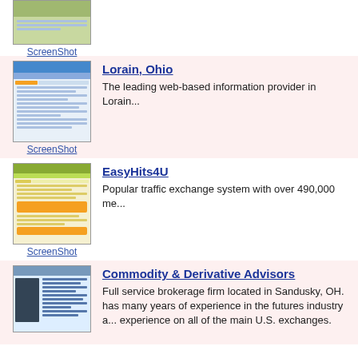[Figure (screenshot): Partial screenshot thumbnail of a website (top entry, partially visible)]
ScreenShot
[Figure (screenshot): Screenshot thumbnail of Lorain, Ohio website]
ScreenShot
Lorain, Ohio
The leading web-based information provider in Lorain...
[Figure (screenshot): Screenshot thumbnail of EasyHits4U website]
ScreenShot
EasyHits4U
Popular traffic exchange system with over 490,000 me...
[Figure (screenshot): Screenshot thumbnail of Commodity & Derivative Advisors website]
Commodity & Derivative Advisors
Full service brokerage firm located in Sandusky, OH. has many years of experience in the futures industry a... experience on all of the main U.S. exchanges.